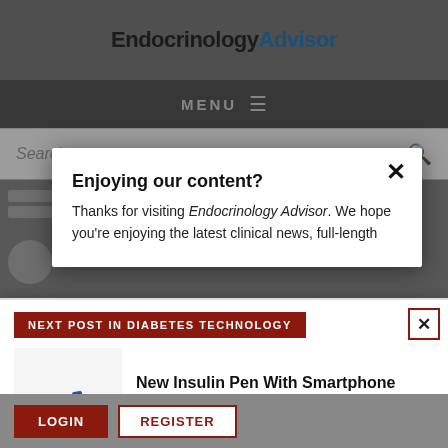EndocrinologyAdvisor
MENU
Search...
Enjoying our content?
Thanks for visiting Endocrinology Advisor. We hope you're enjoying the latest clinical news, full-length
NEXT POST IN DIABETES TECHNOLOGY
[Figure (photo): Three insulin pens — blue, grey, and pink — shown side by side]
New Insulin Pen With Smartphone App, Bolus Advisor Available